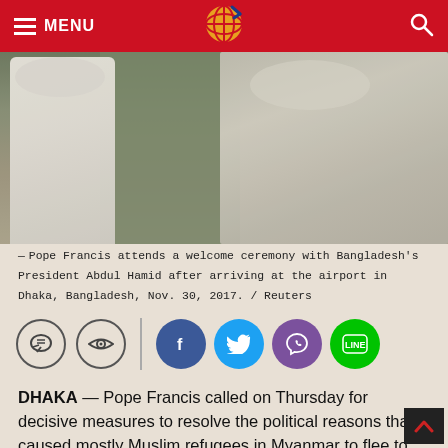MENU [logo] [search]
[Figure (photo): Pope Francis attends a welcome ceremony with Bangladesh's President Abdul Hamid after arriving at the airport in Dhaka, Bangladesh, two figures in white clothing visible]
Pope Francis attends a welcome ceremony with Bangladesh's President Abdul Hamid after arriving at the airport in Dhaka, Bangladesh, Nov. 30, 2017. / Reuters
[Figure (other): Social sharing icons: comment bubble, eye/view icon, vertical divider, Facebook, Twitter, Viber, LINE]
DHAKA — Pope Francis called on Thursday for decisive measures to resolve the political reasons that caused mostly Muslim refugees in Myanmar to flee to Bangladesh and urged countries to help the Dhaka government deal with the crisis.